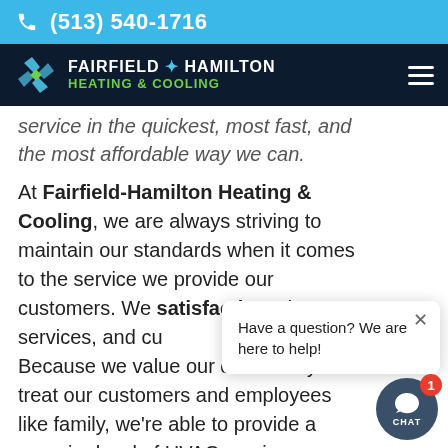(513) 540-1716
[Figure (logo): Fairfield-Hamilton Heating & Cooling logo with pinwheel icon]
service in the quickest, most fast, and the most affordable way we can.
At Fairfield-Hamilton Heating & Cooling, we are always striving to maintain our standards when it comes to the service we provide our customers. We satisfaction wi services, and cu Because we value our community and treat our customers and employees like family, we're able to provide a superior level of HVAC service you won't find anywhere else.
[Figure (screenshot): Chat popup with text: Have a question? We are here to help! and a chat button with badge showing 1]